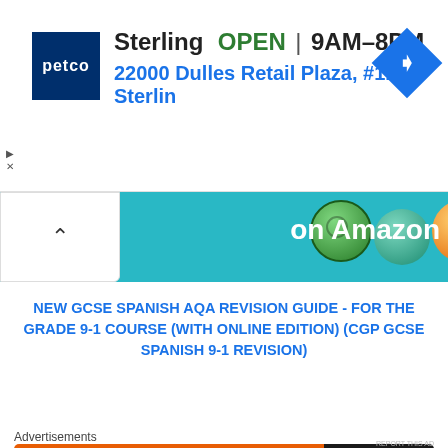[Figure (screenshot): Petco advertisement banner showing store name 'Sterling', status 'OPEN', hours '9AM–8PM', and address '22000 Dulles Retail Plaza, #110, Sterlin' with Petco logo and navigation arrow icon]
[Figure (screenshot): Amazon promotional banner with colorful balls (green, teal, orange) and text 'on Amazon' on cyan/teal background, with an up-chevron button on left]
NEW GCSE SPANISH AQA REVISION GUIDE - FOR THE GRADE 9-1 COURSE (WITH ONLINE EDITION) (CGP GCSE SPANISH 9-1 REVISION)
[Figure (photo): CGP GCSE AQA book cover - dark red/maroon background with CGP logo and 'GCSE AQA' text in white and gold]
Advertisements
[Figure (screenshot): DuckDuckGo advertisement: orange section with text 'Search, browse, and email with more privacy. All in One Free App' and dark section with DuckDuckGo duck logo]